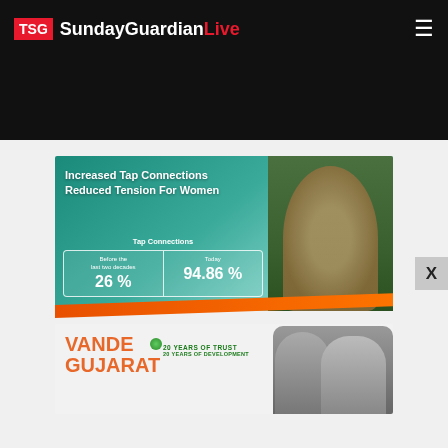TSG SundayGuardianLive
[Figure (infographic): Vande Gujarat government advertisement showing tap connection statistics: Before the last two decades 26%, Today 94.86%. Heading: Increased Tap Connections Reduced Tension For Women. Bottom: Vande Gujarat - 20 Years of Trust, 20 Years of Development. Features woman filling water and two politicians.]